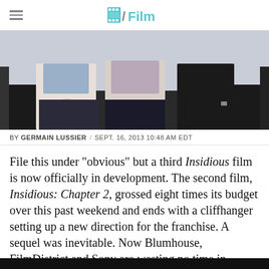/Film
[Figure (photo): Three people sitting on edge of a vehicle, hands folded, photographed from the waist down. Outdoor setting.]
BY GERMAIN LUSSIER / SEPT. 16, 2013 10:48 AM EDT
File this under "obvious" but a third Insidious film is now officially in development. The second film, Insidious: Chapter 2, grossed eight times its budget over this past weekend and ends with a cliffhanger setting up a new direction for the franchise. A sequel was inevitable. Now Blumhouse, FilmDistrict and Sony are wasting no time in letting fans know the series will continue.